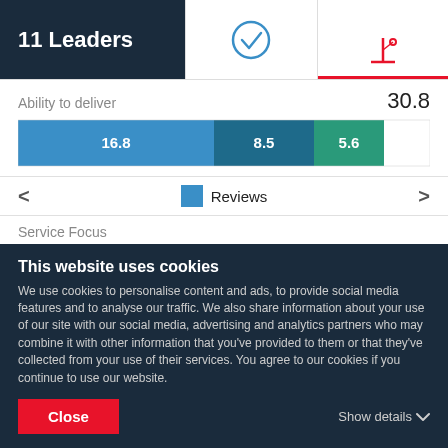11 Leaders
[Figure (infographic): Checkmark icon in circle (blue outline)]
[Figure (infographic): Bar chart / analytics icon in red, with red underline]
Ability to deliver
30.8
[Figure (stacked-bar-chart): Ability to deliver]
Reviews
Service Focus
[Figure (stacked-bar-chart): Service Focus]
This website uses cookies
We use cookies to personalise content and ads, to provide social media features and to analyse our traffic. We also share information about your use of our site with our social media, advertising and analytics partners who may combine it with other information that you've provided to them or that they've collected from your use of their services. You agree to our cookies if you continue to use our website.
Close
Show details